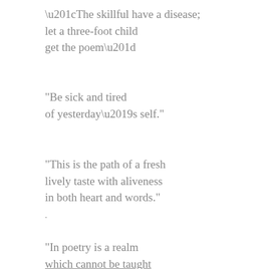“The skillful have a disease;
let a three-foot child
get the poem”
"Be sick and tired
of yesterday’s self."
"This is the path of a fresh
lively taste with aliveness
in both heart and words."
.
"In poetry is a realm
which cannot be taught